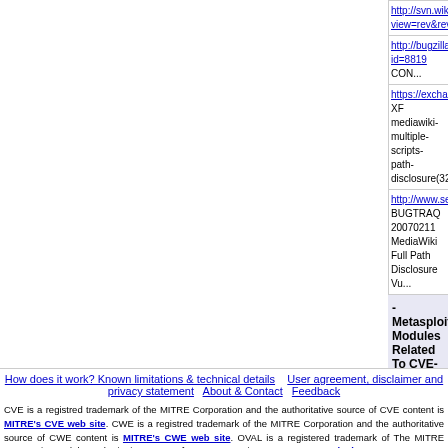http://svn.wikimedia.org/viewvc/mediawiki?view=rev&rev...
http://bugzilla.wikimedia.org/show_bug.cgi?id=8819 CON...
https://exchange.xforce.ibmcloud.com/vulnerabilities/324... XF mediawiki-multiple-scripts-path-disclosure(32440)
http://www.securityfocus.com/archive/1/459793/100/0/th... BUGTRAQ 20070211 MediaWiki Full Path Disclosure Vu...
- Metasploit Modules Related To CVE-20...
There are not any metasploit modules related to this CVE...
How does it work? Known limitations & technical details | User agreement, disclaimer and privacy statement | About & Contact | Feedback
CVE is a registred trademark of the MITRE Corporation and the authoritative source of CVE content is MITRE's CVE web site. CWE is a registred trademark of the MITRE Corporation and the authoritative source of CWE content is MITRE's CWE web site. OVAL is a registered trademark of The MITRE Corporation and the authoritative source of OVAL content is MITRE's OVAL web site. Use of this information constitutes acceptance for use in an AS IS condition. There are NO warranties, implied or otherwise, with regard to this information or its use. Any use of this information is at the user's risk. It is the responsibility of user to evaluate the accuracy, completeness or usefulness of any information, opinion, advice or other content. EACH USER WILL BE SOLELY RESPONSIBLE FOR ANY consequences of his or her direct or indirect use of this web site. ALL WARRANTIES OF ANY KIND ARE EXPRESSLY DISCLAIMED. This site will NOT BE LIABLE FOR ANY DIRECT, INDIRECT or any other kind of loss.